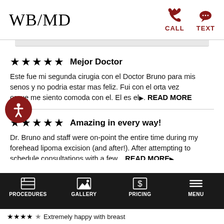WB/MD | CALL | TEXT
★★★★★  Mejor Doctor
Este fue mi segunda cirugia con el Doctor Bruno para mis senos y no podria estar mas feliz. Fui con el orta vez porque me siento comoda con el. El es el... READ MORE
★★★★★  Amazing in every way!
Dr. Bruno and staff were on-point the entire time during my forehead lipoma excision (and after!). After attempting to schedule consultations with a few... READ MORE
PROCEDURES | GALLERY | PRICING | MENU | ★★★★☆ Extremely happy with breast
[Figure (screenshot): Accessibility icon button — red circle with white person/human figure icon]